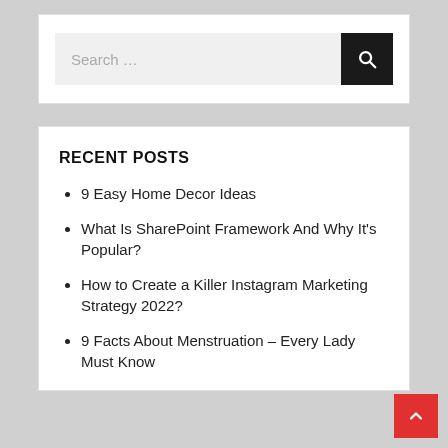Search …
RECENT POSTS
9 Easy Home Decor Ideas
What Is SharePoint Framework And Why It's Popular?
How to Create a Killer Instagram Marketing Strategy 2022?
9 Facts About Menstruation – Every Lady Must Know